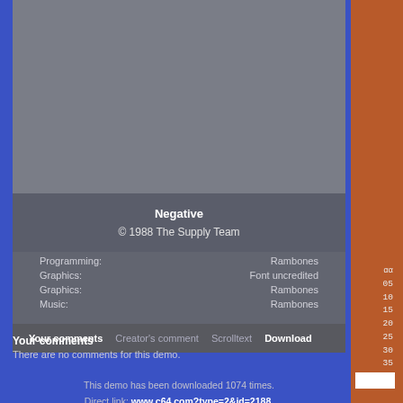[Figure (screenshot): Gray screenshot/preview area at the top of the content box]
Negative
© 1988 The Supply Team
| Role | Person |
| --- | --- |
| Programming: | Rambones |
| Graphics: | Font uncredited |
| Graphics: | Rambones |
| Music: | Rambones |
Your comments | Creator's comment | Scrolltext | Download
Your comments
There are no comments for this demo.
This demo has been downloaded 1074 times.
Direct link: www.c64.com?type=2&id=2188.